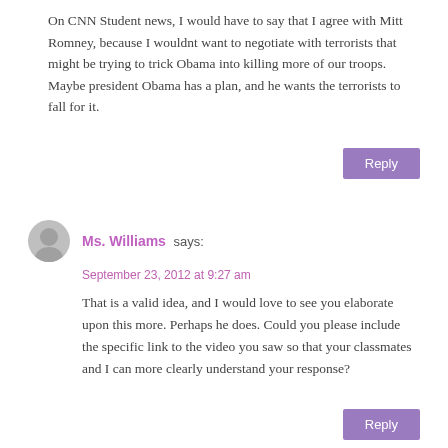On CNN Student news, I would have to say that I agree with Mitt Romney, because I wouldnt want to negotiate with terrorists that might be trying to trick Obama into killing more of our troops. Maybe president Obama has a plan, and he wants the terrorists to fall for it.
Reply
Ms. Williams says:
September 23, 2012 at 9:27 am
That is a valid idea, and I would love to see you elaborate upon this more. Perhaps he does. Could you please include the specific link to the video you saw so that your classmates and I can more clearly understand your response?
Reply